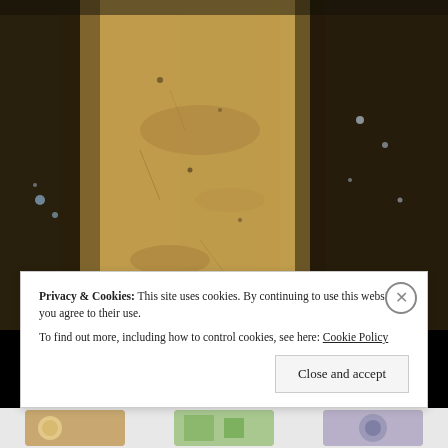[Figure (photo): Close-up photograph of sandy ground with dark shadows cast across it, creating alternating dark and tan vertical stripes. The shadows appear to be from poles or posts. Small rocks and debris are visible in the sand.]
Privacy & Cookies: This site uses cookies. By continuing to use this website, you agree to their use.
To find out more, including how to control cookies, see here: Cookie Policy